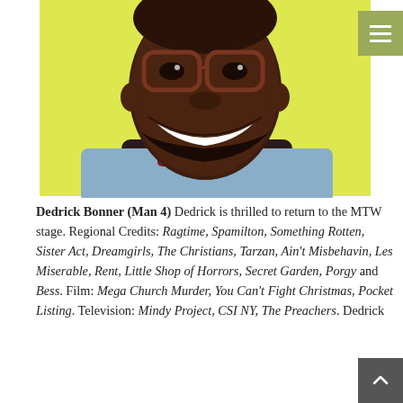[Figure (photo): Headshot of Dedrick Bonner, a smiling Black man wearing red-framed glasses and a denim jacket, posed against a bright yellow background with his hand raised near his chin.]
Dedrick Bonner (Man 4) Dedrick is thrilled to return to the MTW stage. Regional Credits: Ragtime, Spamilton, Something Rotten, Sister Act, Dreamgirls, The Christians, Tarzan, Ain't Misbehavin, Les Miserable, Rent, Little Shop of Horrors, Secret Garden, Porgy and Bess. Film: Mega Church Murder, You Can't Fight Christmas, Pocket Listing. Television: Mindy Project, CSI NY, The Preachers. Dedrick loves to play...